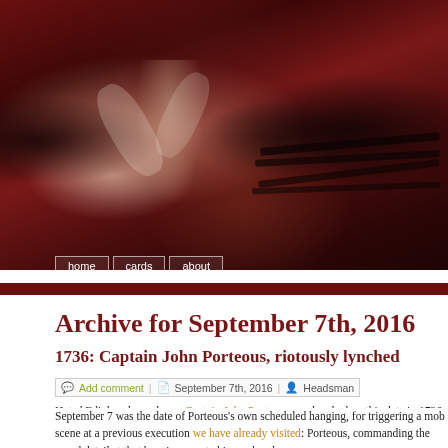[Figure (illustration): Header banner showing a dark red painting/artwork depicting figures in a dramatic scene, reminiscent of a historical execution or mob scene painting]
home | cards | about
Archive for September 7th, 2016
1736: Captain John Porteous, riotously lynched
Add comment | September 7th, 2016 | Headsman
Hated Edinburgh gendarme Captain John Porteous was lynched on this date in 1736.
September 7 was the date of Porteous's own scheduled hanging, for triggering a mob scene at a previous execution we have already visited: Porteous, commanding the guard detail at that hanging, reacted insanely when
some unlucky boys threw a stone or two at the hangman, which is very common, on which the brutal Porteous (who it seems had ordered his party to load their guns with ball) let drive first himself amongst the inocent mob and commanded his men to folow his example which quickly cleansed the street but left three men, a boy and a woman dead upon the